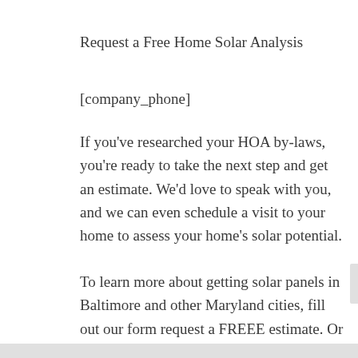Request a Free Home Solar Analysis
[company_phone]
If you’ve researched your HOA by-laws, you’re ready to take the next step and get an estimate. We’d love to speak with you, and we can even schedule a visit to your home to assess your home’s solar potential.
To learn more about getting solar panels in Baltimore and other Maryland cities, fill out our form request a FREEE estimate. Or call us!